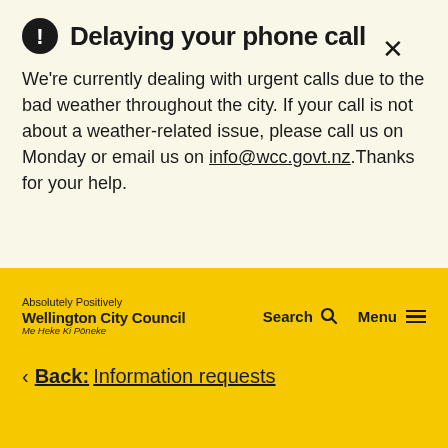Delaying your phone call
We're currently dealing with urgent calls due to the bad weather throughout the city. If your call is not about a weather-related issue, please call us on Monday or email us on info@wcc.govt.nz.Thanks for your help.
[Figure (logo): Absolutely Positively Wellington City Council - Me Heke Ki Pōneke logo]
Search   Menu
< Back: Information requests